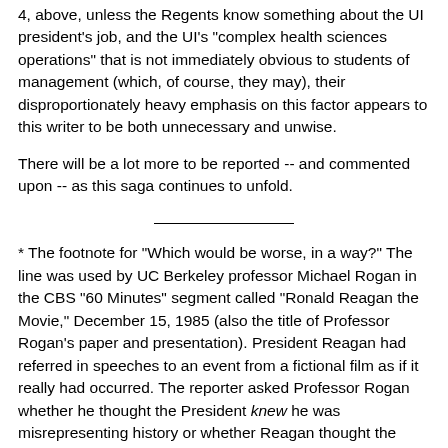4, above, unless the Regents know something about the UI president's job, and the UI's "complex health sciences operations" that is not immediately obvious to students of management (which, of course, they may), their disproportionately heavy emphasis on this factor appears to this writer to be both unnecessary and unwise.
There will be a lot more to be reported -- and commented upon -- as this saga continues to unfold.
* The footnote for "Which would be worse, in a way?" The line was used by UC Berkeley professor Michael Rogan in the CBS "60 Minutes" segment called "Ronald Reagan the Movie," December 15, 1985 (also the title of Professor Rogan's paper and presentation). President Reagan had referred in speeches to an event from a fictional film as if it really had occurred. The reporter asked Professor Rogan whether he thought the President knew he was misrepresenting history or whether Reagan thought the event actually had occurred. Rogan paused, then responded, before addressing the question, "Which would be worse, in a way?"